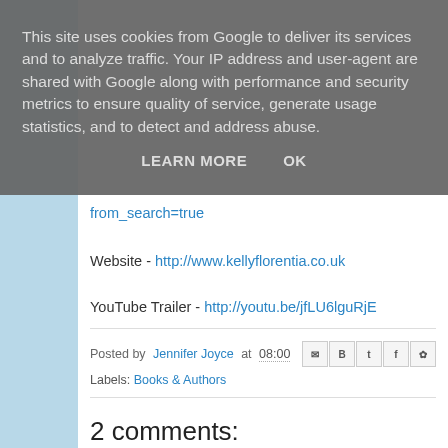This site uses cookies from Google to deliver its services and to analyze traffic. Your IP address and user-agent are shared with Google along with performance and security metrics to ensure quality of service, generate usage statistics, and to detect and address abuse.
LEARN MORE    OK
from_search=true
Website - http://www.kellyflorentia.co.uk
YouTube Trailer - http://youtu.be/jfLU6lguRjE
Posted by Jennifer Joyce at 08:00
Labels: Books & Authors
2 comments:
Unknown 9 April 2014 at 20:18